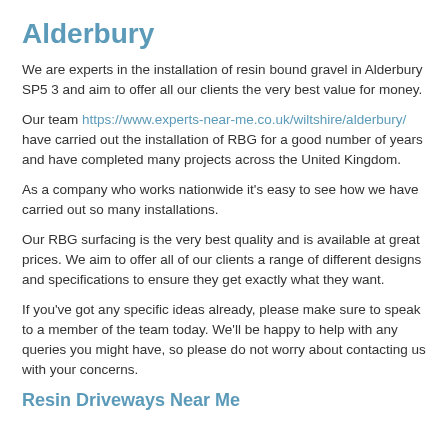Alderbury
We are experts in the installation of resin bound gravel in Alderbury SP5 3 and aim to offer all our clients the very best value for money.
Our team https://www.experts-near-me.co.uk/wiltshire/alderbury/ have carried out the installation of RBG for a good number of years and have completed many projects across the United Kingdom.
As a company who works nationwide it's easy to see how we have carried out so many installations.
Our RBG surfacing is the very best quality and is available at great prices. We aim to offer all of our clients a range of different designs and specifications to ensure they get exactly what they want.
If you've got any specific ideas already, please make sure to speak to a member of the team today. We'll be happy to help with any queries you might have, so please do not worry about contacting us with your concerns.
Resin Driveways Near Me